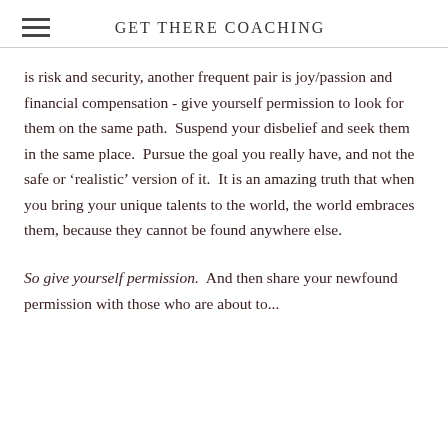GET THERE COACHING
is risk and security, another frequent pair is joy/passion and financial compensation - give yourself permission to look for them on the same path.  Suspend your disbelief and seek them in the same place.  Pursue the goal you really have, and not the safe or 'realistic' version of it.  It is an amazing truth that when you bring your unique talents to the world, the world embraces them, because they cannot be found anywhere else.
So give yourself permission.  And then share your newfound permission with those who are about to...